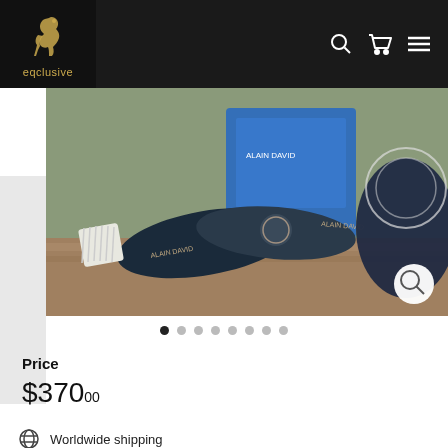eqclusive
[Figure (photo): Horse grooming brushes by Aller Cheval brand displayed on a wooden surface, with blue packaging visible in the background. A magnify/zoom button is visible at the bottom right of the image. Below the photo are 8 pagination dots, the first one filled/active.]
Price
$370.00
Worldwide shipping